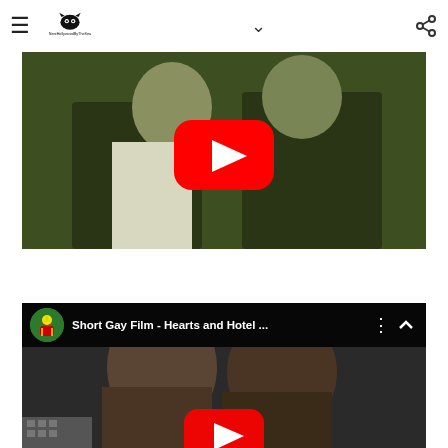Navigation bar with hamburger menu, NeatHollywoodByTheSea logo, chevron, and share icon
[Figure (screenshot): YouTube video thumbnail showing two people in dark jackets with a YouTube play button overlay, greenish tint]
[Figure (screenshot): YouTube video embed titled 'Short Gay Film - Hearts and Hotel ...' with a channel icon and menu dots, showing two people close together]